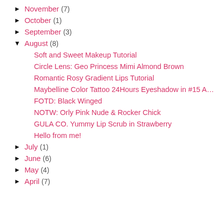▶ November (7)
▶ October (1)
▶ September (3)
▼ August (8)
Soft and Sweet Makeup Tutorial
Circle Lens: Geo Princess Mimi Almond Brown
Romantic Rosy Gradient Lips Tutorial
Maybelline Color Tattoo 24Hours Eyeshadow in #15 A…
FOTD: Black Winged
NOTW: Orly Pink Nude & Rocker Chick
GULA CO. Yummy Lip Scrub in Strawberry
Hello from me!
▶ July (1)
▶ June (6)
▶ May (4)
▶ April (7)